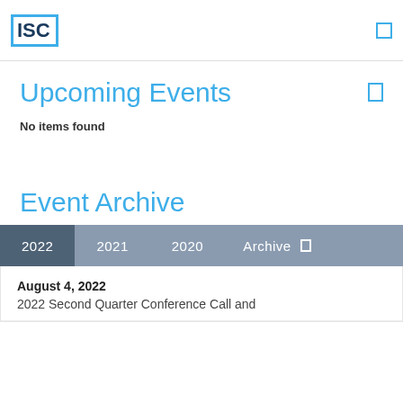ISC
Upcoming Events
No items found
Event Archive
| 2022 | 2021 | 2020 | Archive |
| --- | --- | --- | --- |
| August 4, 2022 | 2022 Second Quarter Conference Call and |